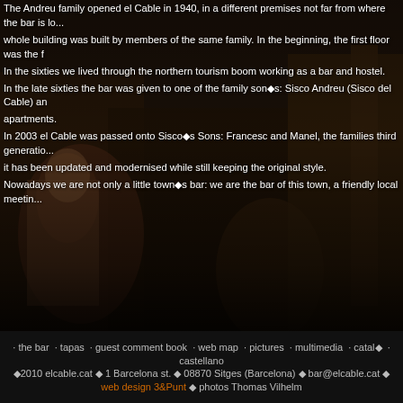[Figure (photo): Dark interior photo of a bar/restaurant with figures visible in low lighting, warm brown tones]
The Andreu family opened el Cable in 1940, in a different premises not far from where the bar is located now. the whole building was built by members of the same family. In the beginning, the first floor was the f... In the sixties we lived through the northern tourism boom working as a bar and hostel. In the late sixties the bar was given to one of the family son�s: Sisco Andreu (Sisco del Cable) and... apartments. In 2003 el Cable was passed onto Sisco�s Sons: Francesc and Manel, the families third generation... it has been updated and modernised while still keeping the original style. Nowadays we are not only a little town�s bar: we are the bar of this town, a friendly local meeting...
· the bar · tapas · guest comment book · web map · pictures · multimedia · catal� · castellano ◆2010 elcable.cat ◆ 1 Barcelona st. ◆ 08870 Sitges (Barcelona) ◆ bar@elcable.cat ◆ web design 3&Punt ◆ photos Thomas Vilhelm